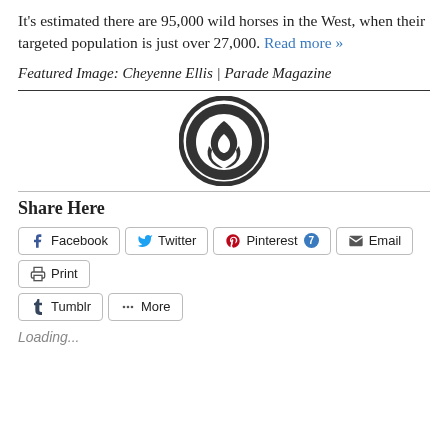It's estimated there are 95,000 wild horses in the West, when their targeted population is just over 27,000. Read more »
Featured Image: Cheyenne Ellis | Parade Magazine
[Figure (logo): Circular logo with stylized flame/leaf shape inside, dark gray on white background]
Share Here
Facebook Twitter Pinterest 7 Email Print Tumblr More
Loading...